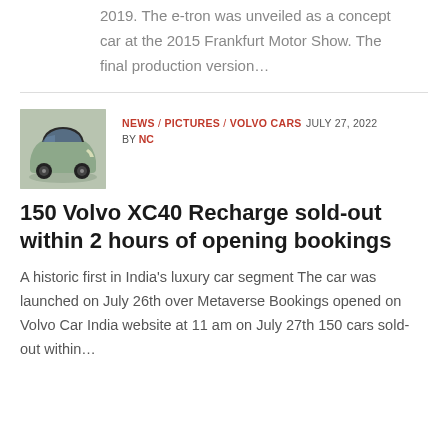2019. The e-tron was unveiled as a concept car at the 2015 Frankfurt Motor Show. The final production version…
[Figure (photo): Thumbnail photo of a Volvo XC40 Recharge electric SUV in a silver/sage green color, viewed from above-front angle]
NEWS / PICTURES / VOLVO CARS  JULY 27, 2022  BY NC
150 Volvo XC40 Recharge sold-out within 2 hours of opening bookings
A historic first in India's luxury car segment The car was launched on July 26th over Metaverse Bookings opened on Volvo Car India website at 11 am on July 27th 150 cars sold-out within…